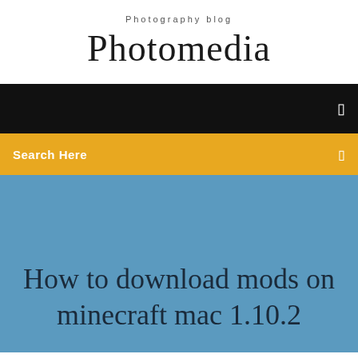Photography blog
Photomedia
[Figure (screenshot): Black navigation bar with small white icon on the right]
Search Here
How to download mods on minecraft mac 1.10.2